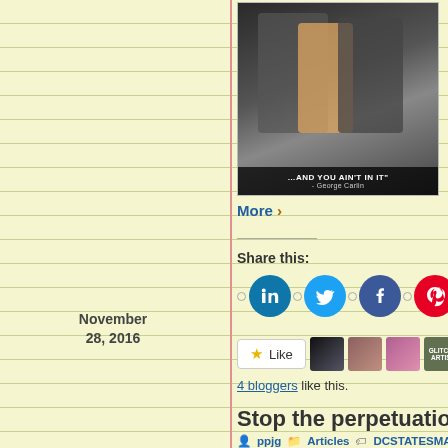[Figure (photo): Book cover or promotional image with text '...AND YOU AIN'T IN IT' by George Carlin, showing people at an event]
than we are in politics, w reminded matters a grea downs of life. That is, at hate him.
More >
Share this:
[Figure (infographic): Social share buttons: LinkedIn, Twitter, Facebook, Pinterest, and More]
[Figure (infographic): Like button with star icon and 4 blogger avatars]
4 bloggers like this.
Stop the perpetuation of “Fake N
ppjg   Articles   DCSTATESMAN, fake news, FAUX   Comments
November 28, 2016